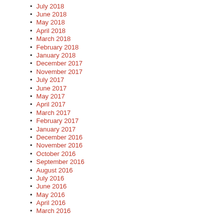July 2018
June 2018
May 2018
April 2018
March 2018
February 2018
January 2018
December 2017
November 2017
July 2017
June 2017
May 2017
April 2017
March 2017
February 2017
January 2017
December 2016
November 2016
October 2016
September 2016
August 2016
July 2016
June 2016
May 2016
April 2016
March 2016